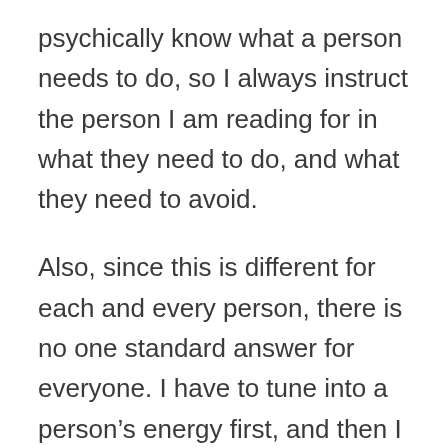psychically know what a person needs to do, so I always instruct the person I am reading for in what they need to do, and what they need to avoid.
Also, since this is different for each and every person, there is no one standard answer for everyone. I have to tune into a person's energy first, and then I will know everything they need to do.
I hope you found this information helpful, and when you meet your soulmate, remember